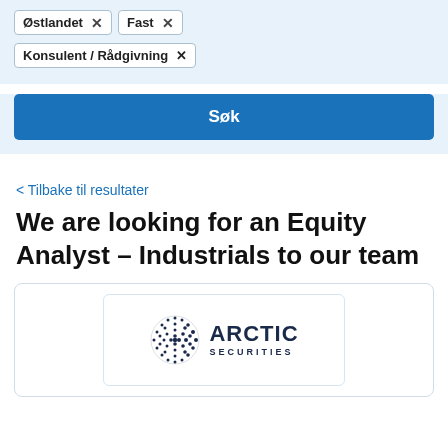Østlandet ×
Fast ×
Konsulent / Rådgivning ×
Søk
< Tilbake til resultater
We are looking for an Equity Analyst – Industrials to our team
[Figure (logo): Arctic Securities company logo — globe icon made of dots alongside the text ARCTIC SECURITIES]